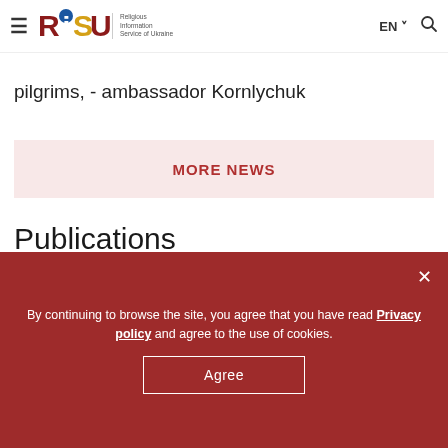RISU — Religious Information Service of Ukraine | EN | Search
pilgrims, - ambassador Kornlychuk
MORE NEWS
Publications
[Figure (photo): Religious icon medallion with golden sunburst frame showing face of Christ, with COMMENTS badge overlay]
By continuing to browse the site, you agree that you have read Privacy policy and agree to the use of cookies.
Agree